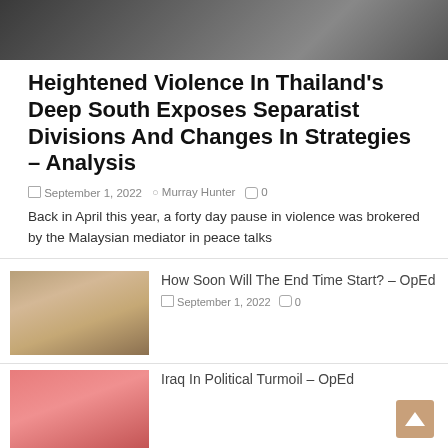[Figure (photo): Top portion of a photo showing people, partially cropped at the top of the page]
Heightened Violence In Thailand's Deep South Exposes Separatist Divisions And Changes In Strategies – Analysis
September 1, 2022  Murray Hunter  0
Back in April this year, a forty day pause in violence was brokered by the Malaysian mediator in peace talks
[Figure (photo): Thumbnail image of an illustrated or painted figure, sepia toned]
How Soon Will The End Time Start? – OpEd
September 1, 2022  0
[Figure (photo): Thumbnail image with red/pink tones, partially visible]
Iraq In Political Turmoil – OpEd